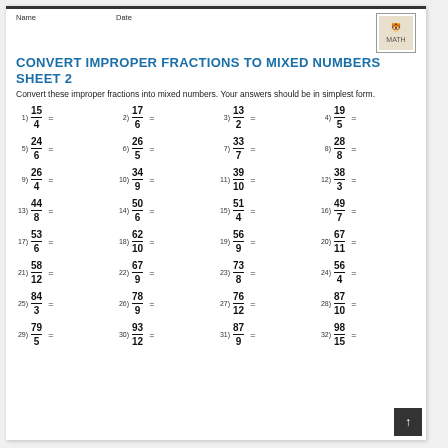Name   Date
CONVERT IMPROPER FRACTIONS TO MIXED NUMBERS SHEET 2
Convert these improper fractions into mixed numbers. Your answers should be in simplest form.
1) 15/4 =
2) 17/6 =
3) 13/2 =
4) 19/5 =
5) 24/6 =
6) 26/5 =
7) 33/7 =
8) 28/8 =
9) 26/4 =
10) 34/9 =
11) 39/10 =
12) 38/3 =
13) 44/8 =
14) 50/6 =
15) 51/4 =
16) 49/7 =
17) 53/6 =
18) 62/10 =
19) 56/9 =
20) 67/11 =
21) 58/12 =
22) 67/9 =
23) 73/8 =
24) 56/4 =
25) 84/3 =
26) 78/9 =
27) 76/12 =
28) 87/10 =
29) 79/5 =
30) 93/12 =
31) 87/9 =
32) 98/15 =